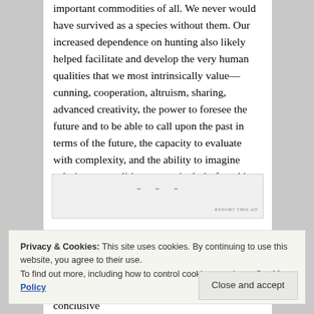important commodities of all. We never would have survived as a species without them. Our increased dependence on hunting also likely helped facilitate and develop the very human qualities that we most intrinsically value— cunning, cooperation, altruism, sharing, advanced creativity, the power to foresee the future and to be able to call upon the past in terms of the future, the capacity to evaluate with complexity, and the ability to imagine solutions— qualities not particularly found in other primates (Ardrey 1976).
[Figure (other): Advertisement placeholder box with dots and 'REPORT THIS AD' text]
Privacy & Cookies: This site uses cookies. By continuing to use this website, you agree to their use.
To find out more, including how to control cookies, see here: Cookie Policy
the notion of Paleolithic diets base their conclusive...